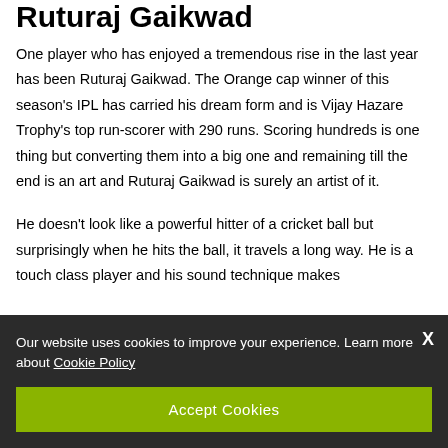Ruturaj Gaikwad
One player who has enjoyed a tremendous rise in the last year has been Ruturaj Gaikwad. The Orange cap winner of this season's IPL has carried his dream form and is Vijay Hazare Trophy's top run-scorer with 290 runs. Scoring hundreds is one thing but converting them into a big one and remaining till the end is an art and Ruturaj Gaikwad is surely an artist of it.
He doesn't look like a powerful hitter of a cricket ball but surprisingly when he hits the ball, it travels a long way. He is a touch class player and his sound technique makes
Our website uses cookies to improve your experience. Learn more about Cookie Policy
Accept Cookies